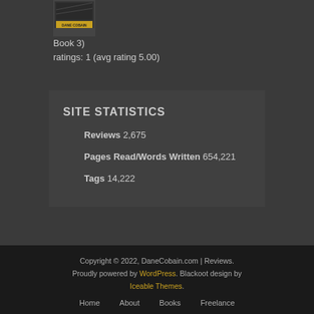[Figure (photo): Book cover image for Dane Cobain book (Book 3)]
Book 3)
ratings: 1 (avg rating 5.00)
SITE STATISTICS
Reviews 2,675
Pages Read/Words Written 654,221
Tags 14,222
Copyright © 2022, DaneCobain.com | Reviews. Proudly powered by WordPress. Blackoot design by Iceable Themes.
Home   About   Books   Freelance